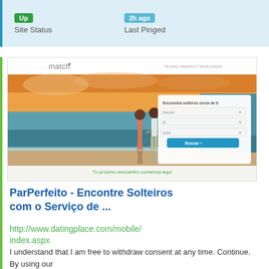Up | Site Status    2h ago | Last Pinged
[Figure (screenshot): Screenshot of match.com website showing a couple holding hands on a beach at sunset, with a Spanish-language search form overlay reading 'Encuentra solteros cerca de ti' and a 'Buscar' button. Below the image is the text 'Tu próximo encuentro comienza aquí'.]
ParPerfeito - Encontre Solteiros com o Serviço de ...
http://www.datingplace.com/mobile/index.aspx
I understand that I am free to withdraw consent at any time. Continue. By using our